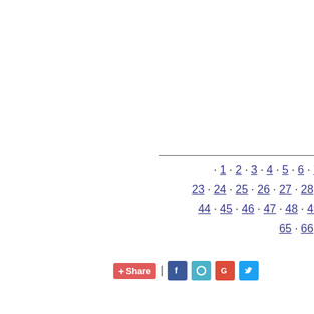· 1 · 2 · 3 · 4 · 5 · 6 · 7 … 23 · 24 · 25 · 26 · 27 · 28 · … 44 · 45 · 46 · 47 · 48 · 49 · … 65 · 66 · …
+ Share | [Facebook] [Bing] [Google] [Twitter]